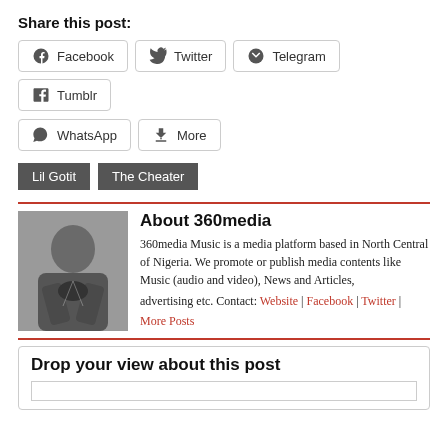Share this post:
Facebook | Twitter | Telegram | Tumblr | WhatsApp | More
Lil Gotit | The Cheater
About 360media
360media Music is a media platform based in North Central of Nigeria. We promote or publish media contents like Music (audio and video), News and Articles, advertising etc. Contact: Website | Facebook | Twitter | More Posts
[Figure (photo): Photo of a man in a black outfit with arms crossed]
Drop your view about this post